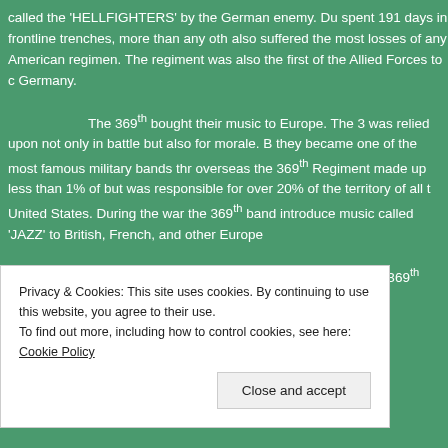called the 'HELLFIGHTERS' by the German enemy. Du spent 191 days in frontline trenches, more than any oth also suffered the most losses of any American regimen. The regiment was also the first of the Allied Forces to c Germany.
The 369th bought their music to Europe. The 3 was relied upon not only in battle but also for morale. B they became one of the most famous military bands thr overseas the 369th Regiment made up less than 1% of but was responsible for over 20% of the territory of all t United States. During the war the 369th band introduce music called 'JAZZ' to British, French, and other Europe
All African American US Army units were rena the 369th served in WWII as the 369th Artillery Regimen
Privacy & Cookies: This site uses cookies. By continuing to use this website, you agree to their use. To find out more, including how to control cookies, see here: Cookie Policy
Close and accept